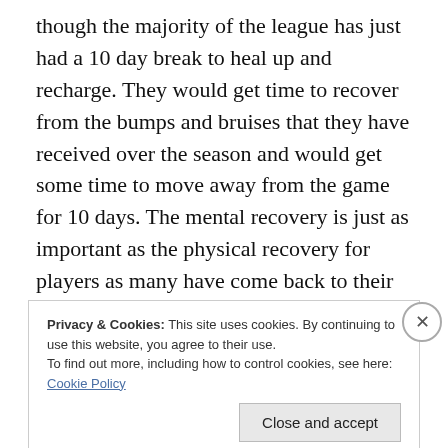though the majority of the league has just had a 10 day break to heal up and recharge. They would get time to recover from the bumps and bruises that they have received over the season and would get some time to move away from the game for 10 days. The mental recovery is just as important as the physical recovery for players as many have come back to their teams feeling refreshed and ready to fight for their team and earn a spot in the playoffs. That will be a key in this year's playoff race as teams look to make their last run at the playoffs with a group of players that is generally in better health than any
Privacy & Cookies: This site uses cookies. By continuing to use this website, you agree to their use.
To find out more, including how to control cookies, see here: Cookie Policy
Close and accept